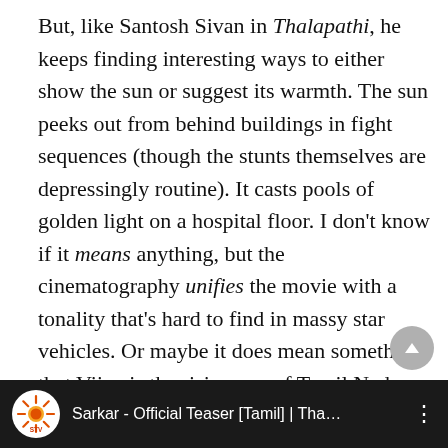But, like Santosh Sivan in Thalapathi, he keeps finding interesting ways to either show the sun or suggest its warmth. The sun peeks out from behind buildings in fight sequences (though the stunts themselves are depressingly routine). It casts pools of golden light on a hospital floor. I don't know if it means anything, but the cinematography unifies the movie with a tonality that's hard to find in massy star vehicles. Or maybe it does mean something, that Vijay is the rising sun of Tamil Nadu politics. In which case, I would urge potential rivals to begin practising the steps to 'Simtangaaran'. You're going to need the right moves.
[Figure (screenshot): YouTube video thumbnail bar showing 'Sarkar - Official Teaser [Tamil] | Tha...' with Sun TV logo icon on black background]